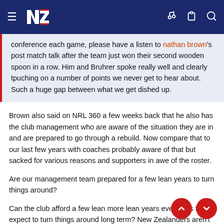NZ Warriors navigation bar
conference each game, please have a listen to nathan brown's post match talk after the team just won their second wooden spoon in a row. Him and Bruhrer spoke really well and clearly tpuching on a number of points we never get to hear about. Such a huge gap between what we get dished up.
Brown also said on NRL 360 a few weeks back that he also has the club management who are aware of the situation they are in and are prepared to go through a rebuild. Now compare that to our last few years with coaches probably aware of that but sacked for various reasons and supporters in awe of the roster.
Are our management team prepared for a few lean years to turn things around?
Can the club afford a few lean more lean years even if it’s that expect to turn things around long term? New Zealanders aren't like the Newcastle faithful who turn up in decent numbers to support their club most of our sports sides the crowds fall off whenever results are tough.